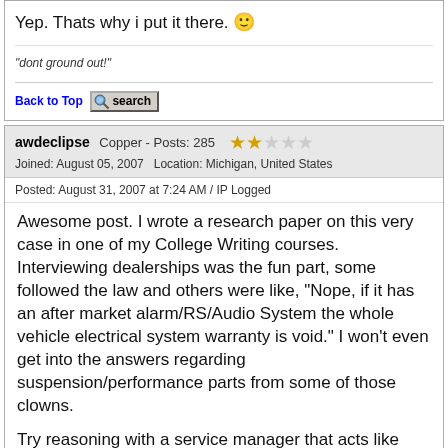Yep. Thats why i put it there. 🙂
"dont ground out!"
Back to Top  [search]
awdeclipse  Copper - Posts: 285  ★★☆☆☆
Joined: August 05, 2007   Location: Michigan, United States
Posted: August 31, 2007 at 7:24 AM / IP Logged
Awesome post. I wrote a research paper on this very case in one of my College Writing courses. Interviewing dealerships was the fun part, some followed the law and others were like, "Nope, if it has an after market alarm/RS/Audio System the whole vehicle electrical system warranty is void." I won't even get into the answers regarding suspension/performance parts from some of those clowns.
Try reasoning with a service manager that acts like that out of the gates... sheesh